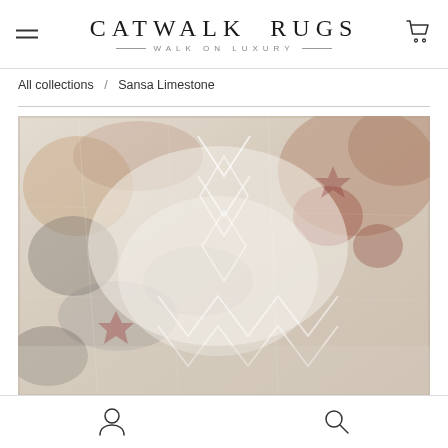CATWALK RUGS — WALK ON LUXURY
All collections / Sansa Limestone
[Figure (photo): Close-up photograph of the Sansa Limestone rug, showing a distressed, aged-look pattern with geometric chevron/diamond motifs in muted beige, grey, and dusty rose/terracotta tones on a cream/white background.]
Account icon and Search icon navigation bar